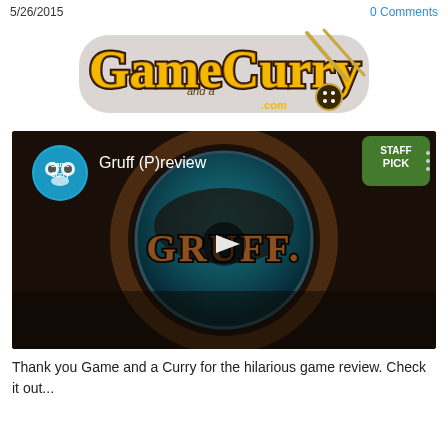5/26/2015    0 Comments
[Figure (logo): GameCurry and a .com logo with chopsticks]
[Figure (screenshot): YouTube video thumbnail for 'Gruff (P)review' by Game Curry, showing the Gruff game logo with a teal circular background. Top right shows 'STAFF PICK' badge. A play button is centered.]
Thank you Game and a Curry for the hilarious game review. Check it out...